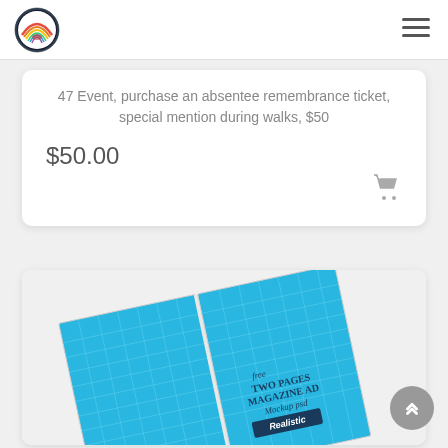[Figure (logo): Circular organization logo with rainbow arc and text]
47 Event, purchase an absentee remembrance ticket, special mention during walks, $50
$50.00
[Figure (photo): Two pages magazine AD mockup PSD - Realistic product image showing open magazine with blue grid pages]